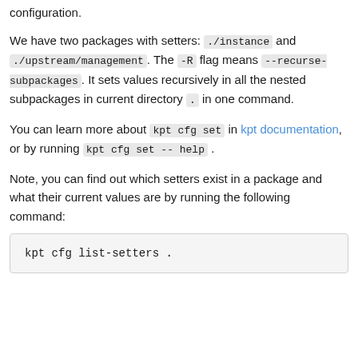configuration.
We have two packages with setters: ./instance and ./upstream/management . The -R flag means --recurse-subpackages . It sets values recursively in all the nested subpackages in current directory . in one command.
You can learn more about kpt cfg set in kpt documentation, or by running kpt cfg set --help .
Note, you can find out which setters exist in a package and what their current values are by running the following command:
kpt cfg list-setters .